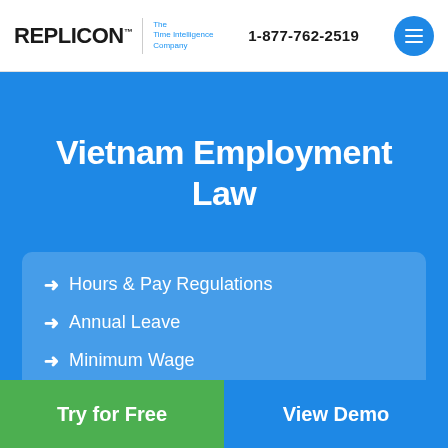REPLICON | The Time Intelligence Company | 1-877-762-2519
Vietnam Employment Law
Hours & Pay Regulations
Annual Leave
Minimum Wage
Special Leave
Try for Free
View Demo